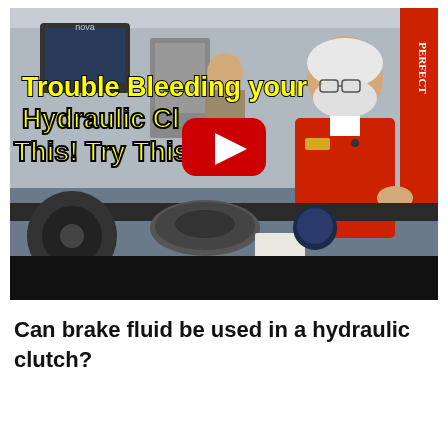[Figure (screenshot): YouTube video thumbnail showing an older man with white beard in a red shirt standing behind a workbench with clutch parts. Yellow bold text overlay reads 'Trouble Bleeding your Hydraulic Cl... Try This!' with a YouTube play button in the center.]
Can brake fluid be used in a hydraulic clutch?